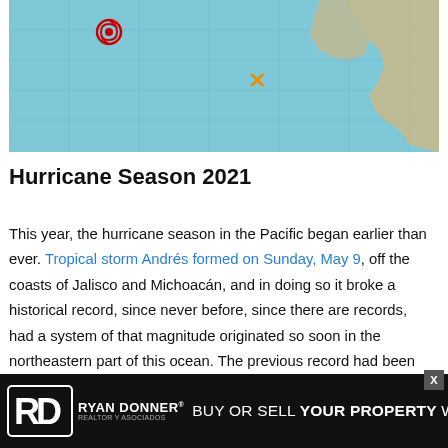[Figure (map): Weather map showing Pacific Ocean with a red hurricane symbol in the upper-left area near Mexico and an orange X marker in the central-right area, with Central America coastline visible on the right side.]
Hurricane Season 2021
This year, the hurricane season in the Pacific began earlier than ever. Tropical storm Andrés formed on Sunday, May 9, off the coasts of Jalisco and Michoacán, and in doing so it broke a historical record, since never before, since there are records, had a system of that magnitude originated so soon in the northeastern part of this ocean. The previous record had been set by Tropical Storm Adrián,
[Figure (other): Advertisement banner: Ryan Donner Realtor y Asociados — BUY OR SELL YOUR PROPERTY WITH US]